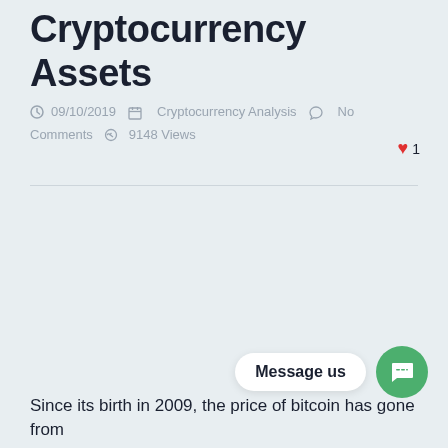Cryptocurrency Assets
09/10/2019   Cryptocurrency Analysis   No Comments   9148 Views   ♥ 1
Since its birth in 2009, the price of bitcoin has gone from